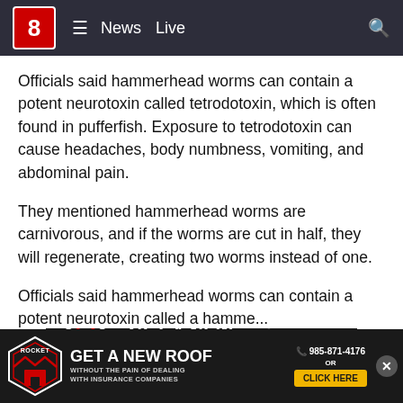8 ≡ News Live 🔍
Officials said hammerhead worms can contain a potent neurotoxin called tetrodotoxin, which is often found in pufferfish. Exposure to tetrodotoxin can cause headaches, body numbness, vomiting, and abdominal pain.
They mentioned hammerhead worms are carnivorous, and if the worms are cut in half, they will regenerate, creating two worms instead of one.
ADVERTISEMENT
[Figure (advertisement): Rocket Roofing advertisement: GET A NEW ROOF WITHOUT THE PAIN OF DEALING WITH INSURANCE COMPANIES. Phone: 985-871-4176 OR CLICK HERE]
[Figure (advertisement): Sticky bottom Rocket Roofing ad: GET A NEW ROOF WITHOUT THE PAIN OF DEALING WITH INSURANCE COMPANIES. Phone: 985-871-4176 OR CLICK HERE. Close button (X).]
Officials said hammerhead worms can contain a potent neurotoxin called a hamme...